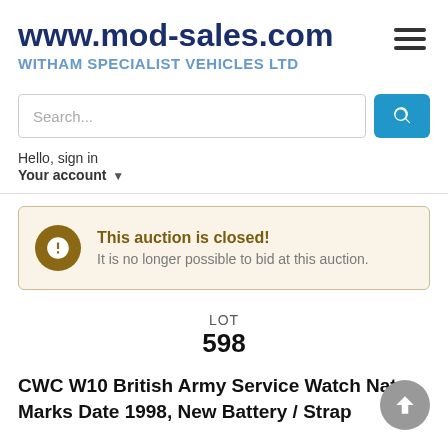www.mod-sales.com
WITHAM SPECIALIST VEHICLES LTD
Search...
Hello, sign in
Your account
This auction is closed!
It is no longer possible to bid at this auction.
LOT
598
CWC W10 British Army Service Watch Nato Marks Date 1998, New Battery / Strap